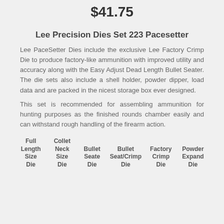$41.75
Lee Precision Dies Set 223 Pacesetter
Lee PaceSetter Dies include the exclusive Lee Factory Crimp Die to produce factory-like ammunition with improved utility and accuracy along with the Easy Adjust Dead Length Bullet Seater. The die sets also include a shell holder, powder dipper, load data and are packed in the nicest storage box ever designed.
This set is recommended for assembling ammunition for hunting purposes as the finished rounds chamber easily and can withstand rough handling of the firearm action.
| Full Length Size Die | Collet Neck Size Die | Bullet Seate Die | Bullet Seat/Crimp Die | Factory Crimp Die | Powder Expand Die |
| --- | --- | --- | --- | --- | --- |